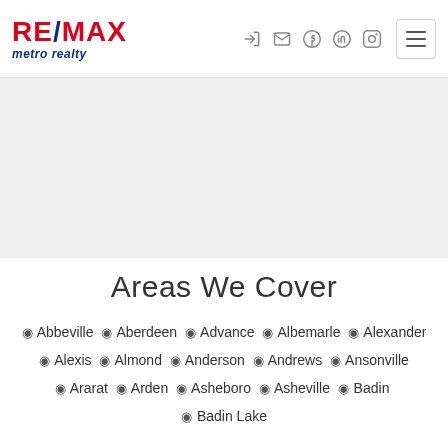[Figure (logo): RE/MAX metro realty logo with red RE/MAX text and blue metro realty subtitle]
[Figure (screenshot): Navigation icons: login arrow, envelope, Facebook, LinkedIn, Instagram, and hamburger menu button]
[Figure (photo): Light gray banner/hero image area]
Areas We Cover
Abbeville Aberdeen Advance Albemarle Alexander Alexis Almond Anderson Andrews Ansonville Ararat Arden Asheboro Asheville Badin Badin Lake